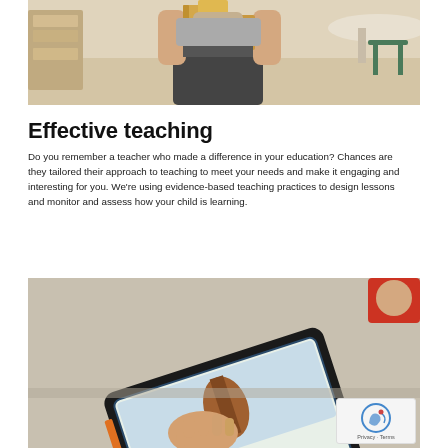[Figure (photo): Child in classroom holding wooden building blocks up near face]
Effective teaching
Do you remember a teacher who made a difference in your education? Chances are they tailored their approach to teaching to meet your needs and make it engaging and interesting for you. We're using evidence-based teaching practices to design lessons and monitor and assess how your child is learning.
[Figure (photo): Child's hand touching a tablet screen showing a violin or similar instrument, with another child visible at top right]